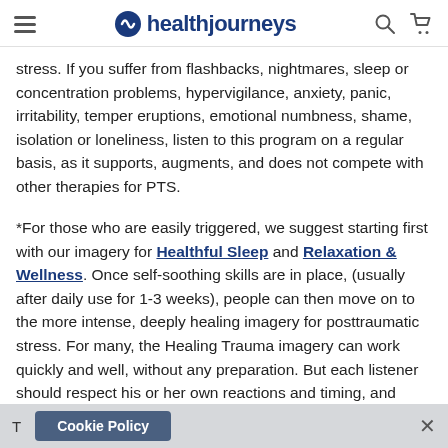healthjourneys
stress.  If you suffer from flashbacks, nightmares, sleep or concentration problems, hypervigilance, anxiety, panic, irritability, temper eruptions, emotional numbness, shame, isolation or loneliness, listen to this program on a regular basis, as it supports, augments, and does not compete with other therapies for PTS.
*For those who are easily triggered, we suggest starting first with our imagery for Healthful Sleep and Relaxation & Wellness. Once self-soothing skills are in place, (usually after daily use for 1-3 weeks), people can then move on to the more intense, deeply healing imagery for posttraumatic stress. For many, the Healing Trauma imagery can work quickly and well, without any preparation. But each listener should respect his or her own reactions and timing, and progress accordingly. When
Cookie Policy